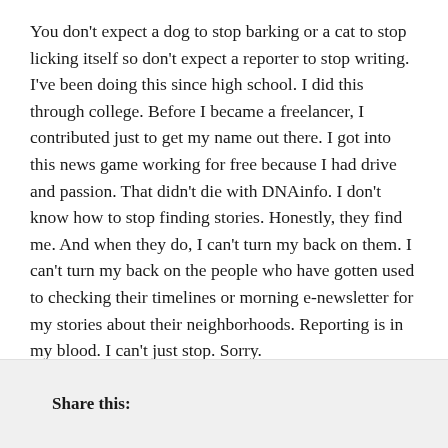You don't expect a dog to stop barking or a cat to stop licking itself so don't expect a reporter to stop writing. I've been doing this since high school. I did this through college. Before I became a freelancer, I contributed just to get my name out there. I got into this news game working for free because I had drive and passion. That didn't die with DNAinfo. I don't know how to stop finding stories. Honestly, they find me. And when they do, I can't turn my back on them. I can't turn my back on the people who have gotten used to checking their timelines or morning e-newsletter for my stories about their neighborhoods. Reporting is in my blood. I can't just stop. Sorry.
Share this: